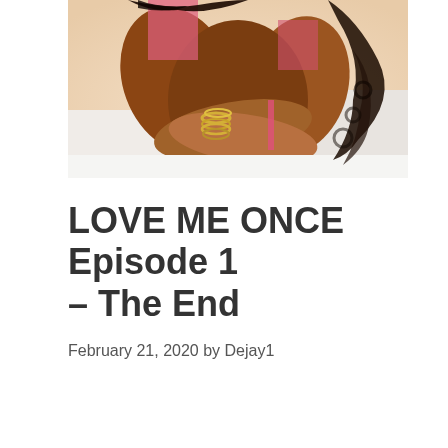[Figure (photo): A photo of a woman in a pink outfit, sitting with her arms resting on her knees, wearing gold bangles, with curly dark hair visible on the right side. The background is white/light.]
LOVE ME ONCE Episode 1 – The End
February 21, 2020 by Dejay1